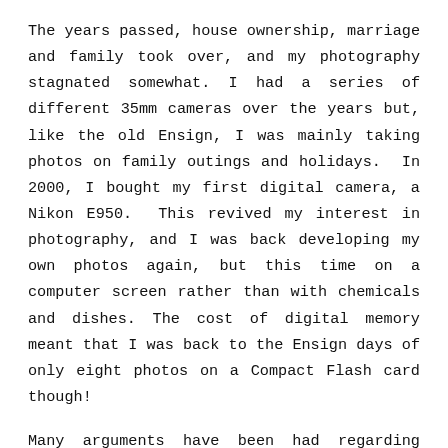The years passed, house ownership, marriage and family took over, and my photography stagnated somewhat. I had a series of different 35mm cameras over the years but, like the old Ensign, I was mainly taking photos on family outings and holidays. In 2000, I bought my first digital camera, a Nikon E950. This revived my interest in photography, and I was back developing my own photos again, but this time on a computer screen rather than with chemicals and dishes. The cost of digital memory meant that I was back to the Ensign days of only eight photos on a Compact Flash card though!
Many arguments have been had regarding computer processing of digital images, and the term “Photoshop” is often used in a derogatory manner. My first of these opinions that is shown in the context of